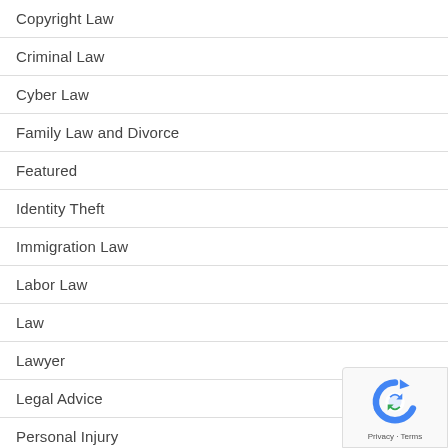Copyright Law
Criminal Law
Cyber Law
Family Law and Divorce
Featured
Identity Theft
Immigration Law
Labor Law
Law
Lawyer
Legal Advice
Personal Injury
Private Investigation